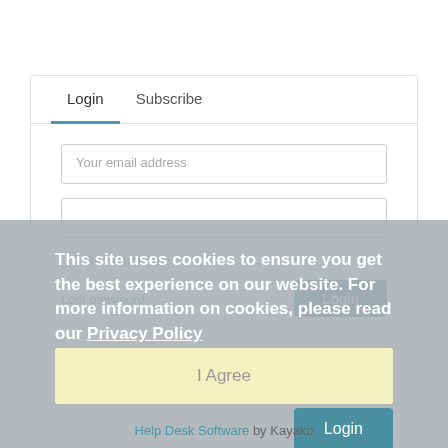Login  Subscribe
Your email address
Remember me
Lost password
Login
This site uses cookies to ensure you get the best experience on our website. For more information on cookies, please read our Privacy Policy
I Agree
Help Desk Software by Kayako